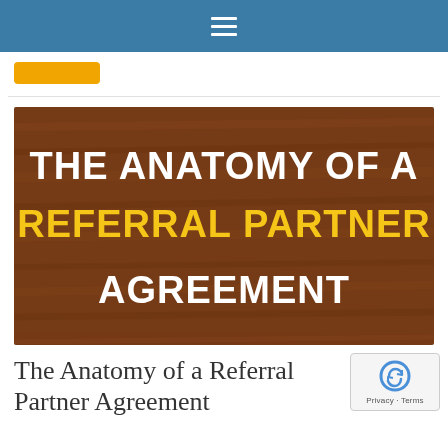Navigation bar with hamburger menu
[Figure (illustration): Decorative image with wood texture background showing text: THE ANATOMY OF A REFERRAL PARTNER AGREEMENT in white and yellow bold uppercase letters]
The Anatomy of a Referral Partner Agreement